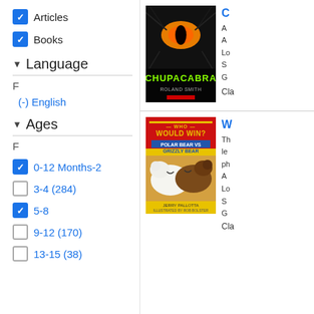Articles (checked)
Books (checked)
Language
F
(-) English
Ages
F
0-12 Months-2 (checked)
3-4 (284) (unchecked)
5-8 (checked)
9-12 (170) (unchecked)
13-15 (38) (unchecked)
[Figure (photo): Book cover: Chupacabra by Roland Smith, dark cover with glowing cat-like eye]
C
A
A
Lo
S
G
Cla
[Figure (photo): Book cover: Who Would Win? Polar Bear vs Grizzly Bear, red/yellow cover with bears]
W
Th
le
ph
A
Lo
S
G
Cla